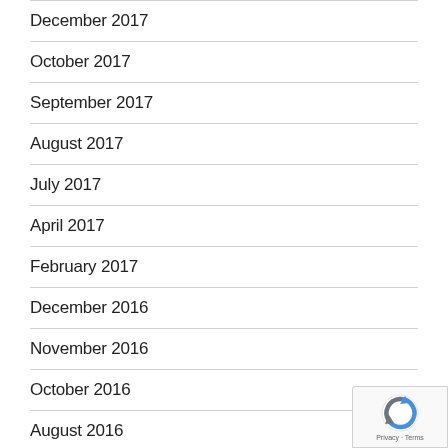December 2017
October 2017
September 2017
August 2017
July 2017
April 2017
February 2017
December 2016
November 2016
October 2016
August 2016
[Figure (logo): reCAPTCHA badge with Privacy and Terms links]